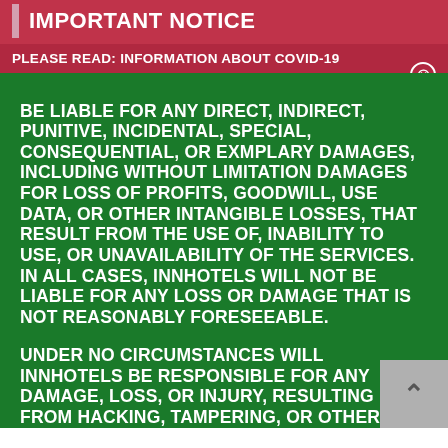IMPORTANT NOTICE
PLEASE READ: INFORMATION ABOUT COVID-19
BE LIABLE FOR ANY DIRECT, INDIRECT, PUNITIVE, INCIDENTAL, SPECIAL, CONSEQUENTIAL, OR EXMPLARY DAMAGES, INCLUDING WITHOUT LIMITATION DAMAGES FOR LOSS OF PROFITS, GOODWILL, USE DATA, OR OTHER INTANGIBLE LOSSES, THAT RESULT FROM THE USE OF, INABILITY TO USE, OR UNAVAILABILITY OF THE SERVICES. IN ALL CASES, INNHOTELS WILL NOT BE LIABLE FOR ANY LOSS OR DAMAGE THAT IS NOT REASONABLY FORESEEABLE.
UNDER NO CIRCUMSTANCES WILL INNHOTELS BE RESPONSIBLE FOR ANY DAMAGE, LOSS, OR INJURY, RESULTING FROM HACKING, TAMPERING, OR OTHER UNAUTHORIZED ACC OR USE OF THE SERVICES OR YOUR INNHOTEL ACCOUNT, OR THE INFORMATION CONTAINED